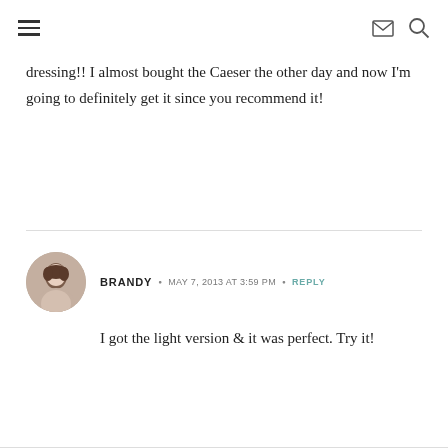Navigation menu, email icon, search icon
dressing!! I almost bought the Caeser the other day and now I'm going to definitely get it since you recommend it!
BRANDY • MAY 7, 2013 AT 3:59 PM • REPLY
I got the light version & it was perfect. Try it!